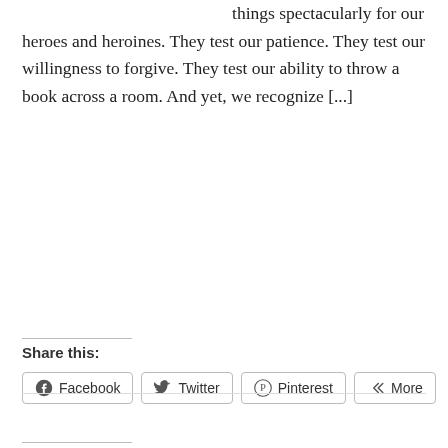things spectacularly for our heroes and heroines. They test our patience. They test our willingness to forgive. They test our ability to throw a book across a room. And yet, we recognize [...]
Share this:
[Figure (screenshot): Social share buttons: Facebook, Twitter, Pinterest, More]
Like this:
Loading...